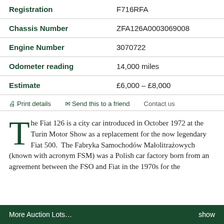| Field | Value |
| --- | --- |
| Registration | F716RFA |
| Chassis Number | ZFA126A0003069008 |
| Engine Number | 3070722 |
| Odometer reading | 14,000 miles |
| Estimate | £6,000 – £8,000 |
🖨 Print details   ✉ Send this to a friend   Contact us
The Fiat 126 is a city car introduced in October 1972 at the Turin Motor Show as a replacement for the now legendary Fiat 500. The Fabryka Samochodów Małolitrażowych (known with acronym FSM) was a Polish car factory born from an agreement between the FSO and Fiat in the 1970s for the
More Auction Lots…    show